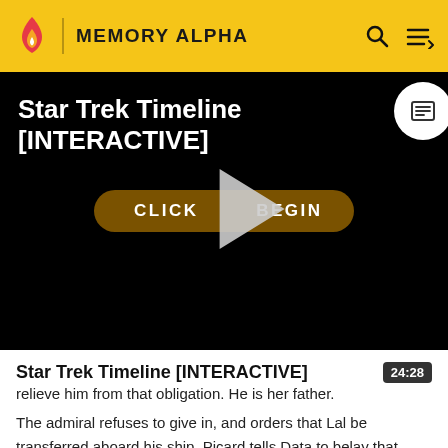MEMORY ALPHA
[Figure (screenshot): Video player showing Star Trek Timeline [INTERACTIVE] with a dark background, a golden 'CLICK TO BEGIN' button, and a play triangle overlay in the center.]
Star Trek Timeline [INTERACTIVE]
relieve him from that obligation. He is her father.
The admiral refuses to give in, and orders that Lal be transferred aboard his ship. Picard tells Data to belay that